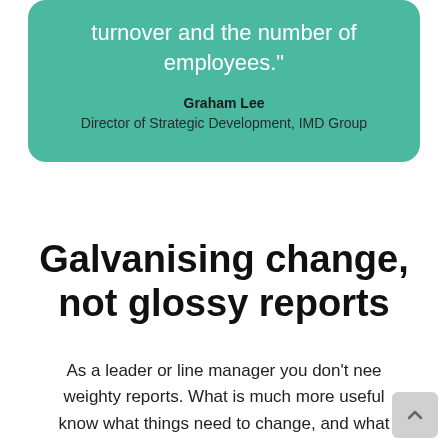turnover and the number of employees."
Graham Lee
Director of Strategic Development, IMD Group
Galvanising change, not glossy reports
As a leader or line manager you don't need weighty reports. What is much more useful is know what things need to change, and what